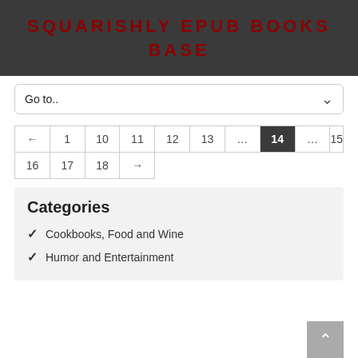SQUARISHLY EPUB BOOKS BASE
Go to..
| ← | 1 | 10 | 11 | 12 | 13 | ... | 14 | ... | 15 |
| 16 | 17 | 18 | → |  |  |  |  |  |  |
Categories
Cookbooks, Food and Wine
Humor and Entertainment